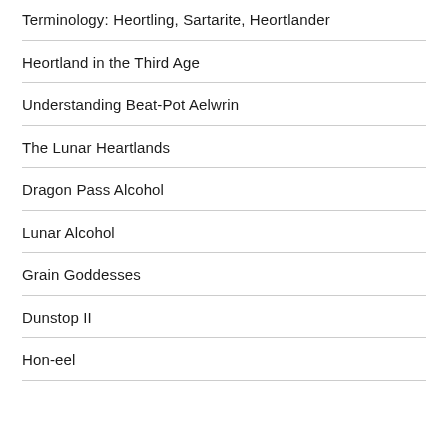Terminology: Heortling, Sartarite, Heortlander
Heortland in the Third Age
Understanding Beat-Pot Aelwrin
The Lunar Heartlands
Dragon Pass Alcohol
Lunar Alcohol
Grain Goddesses
Dunstop II
Hon-eel